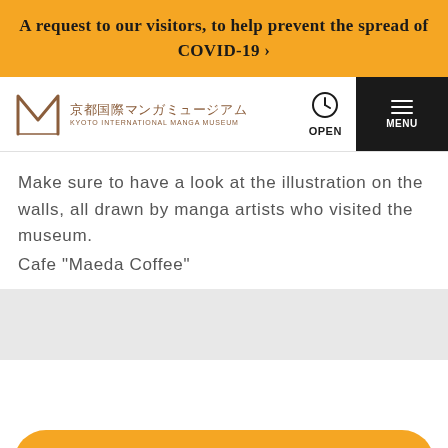A request to our visitors, to help prevent the spread of COVID-19 ›
[Figure (logo): Kyoto International Manga Museum logo with stylized M and Japanese text 京都国際マンガミュージアム]
Make sure to have a look at the illustration on the walls, all drawn by manga artists who visited the museum.
Cafe "Maeda Coffee"
[Figure (infographic): Bottom navigation bar with four icons: ticket, location pin, search magnifier, and Twitter bird]